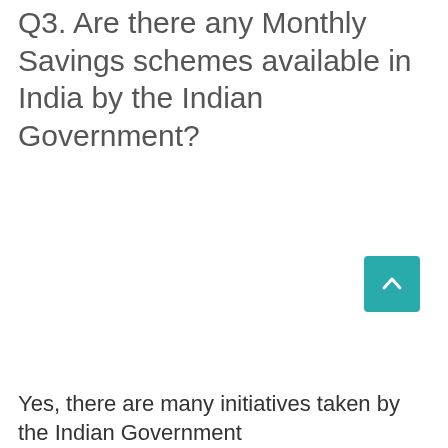Q3. Are there any Monthly Savings schemes available in India by the Indian Government?
Yes, there are many initiatives taken by the Indian Government